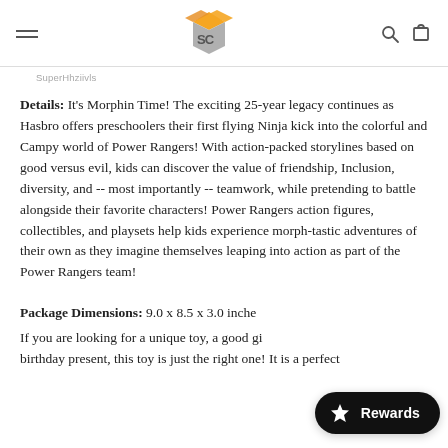SC logo header with hamburger menu, search, and cart icons
SuperHhziivls
Details: It's Morphin Time! The exciting 25-year legacy continues as Hasbro offers preschoolers their first flying Ninja kick into the colorful and Campy world of Power Rangers! With action-packed storylines based on good versus evil, kids can discover the value of friendship, Inclusion, diversity, and -- most importantly -- teamwork, while pretending to battle alongside their favorite characters! Power Rangers action figures, collectibles, and playsets help kids experience morph-tastic adventures of their own as they imagine themselves leaping into action as part of the Power Rangers team!
Package Dimensions: 9.0 x 8.5 x 3.0 inches If you are looking for a unique toy, a good gift for a birthday present, this toy is just the right one! It is a perfect